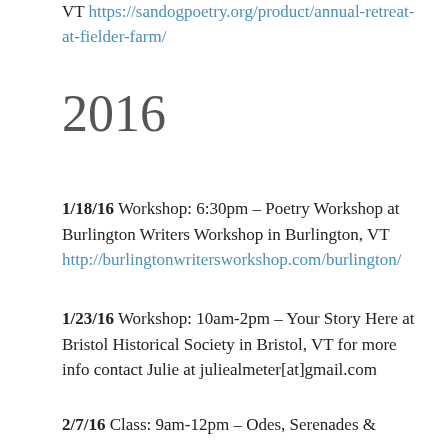VT https://sandogpoetry.org/product/annual-retreat-at-fielder-farm/
2016
1/18/16 Workshop: 6:30pm – Poetry Workshop at Burlington Writers Workshop in Burlington, VT http://burlingtonwritersworkshop.com/burlington/
1/23/16 Workshop: 10am-2pm – Your Story Here at Bristol Historical Society in Bristol, VT for more info contact Julie at juliealmeter[at]gmail.com
2/7/16 Class: 9am-12pm – Odes, Serenades &